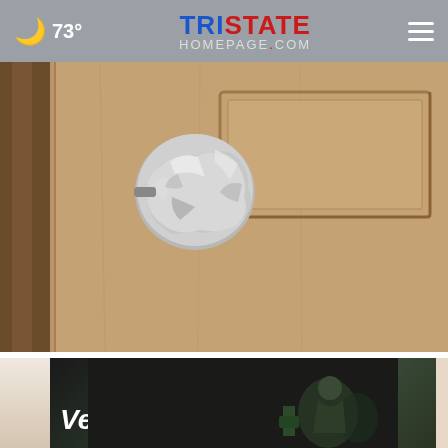🌙 73° | TRISTATE HOMEPAGE.com
[Figure (photo): Close-up photo of a wooden door handle/doorknob wrapped in crumpled aluminum foil]
Wrap Foil Around Your Doorknob at Night if Alone, Here's Why
Sogoodly
[Figure (photo): Advertisement banner showing a person with text 'Veterans,']